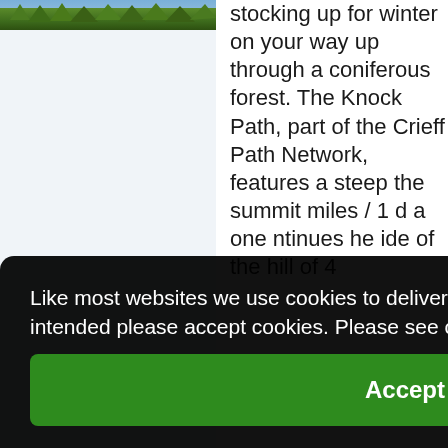[Figure (photo): Partial view of a landscape/outdoor photo showing trees and greenery at the top of the page, left column]
stocking up for winter on your way up through a coniferous forest. The Knock Path, part of the Crieff Path Network, features a steep [path to the] summit [miles / 1] [and a] one [continues] [the] [side of] the hill of 4
Like most websites we use cookies to deliver a personalised service. To use the website as intended please accept cookies. Please see our privacy policy for more information.
Accept Cookies